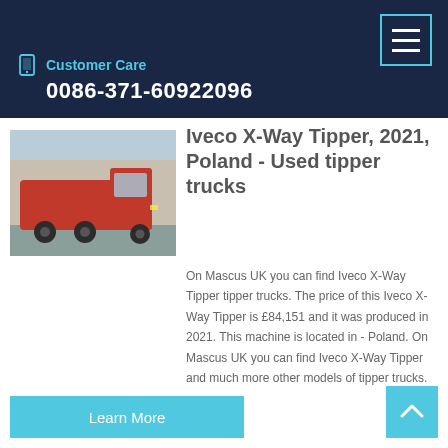Customer Care
0086-371-60922096
Iveco X-Way Tipper, 2021, Poland - Used tipper trucks
[Figure (photo): Red Iveco truck parked outside a building]
On Mascus UK you can find Iveco X-Way Tipper tipper trucks. The price of this Iveco X-Way Tipper is £84,151 and it was produced in 2021. This machine is located in - Poland. On Mascus UK you can find Iveco X-Way Tipper and much more other models of tipper trucks.
Learn More